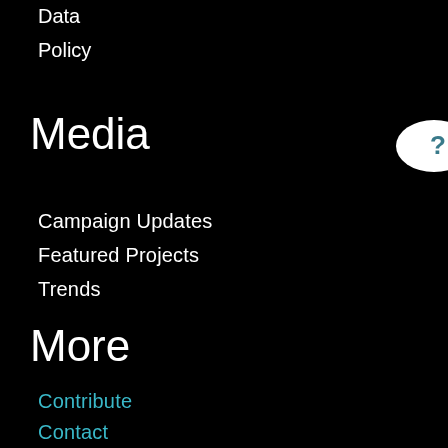Data
Policy
Media
Campaign Updates
Featured Projects
Trends
More
Contribute
Contact
Subscribe
[Figure (other): Partially visible circular help/question mark button in white with blue question mark, positioned at top right corner]